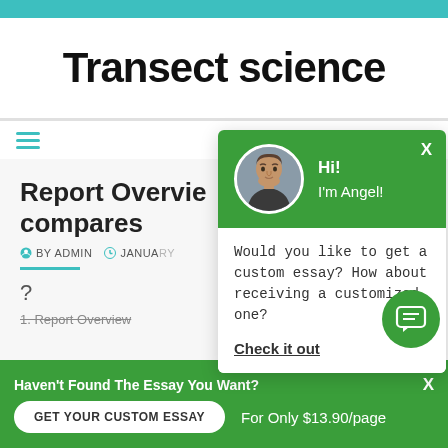Transect science
Report Overview compares
BY ADMIN  JANUARY
?
1. Report Overview
[Figure (screenshot): Chat popup with green header showing avatar of a man, greeting 'Hi! I'm Angel!', and message 'Would you like to get a custom essay? How about receiving a customized one?' with 'Check it out' link]
Haven't Found The Essay You Want?
GET YOUR CUSTOM ESSAY
For Only $13.90/page